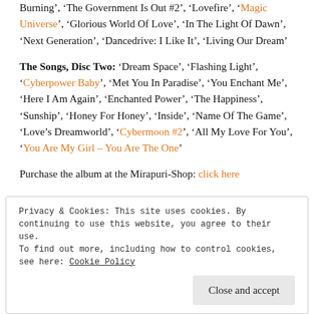Burning', 'The Government Is Out #2', 'Lovefire', 'Magic Universe', 'Glorious World Of Love', 'In The Light Of Dawn', 'Next Generation', 'Dancedrive: I Like It', 'Living Our Dream'
The Songs, Disc Two: 'Dream Space', 'Flashing Light', 'Cyberpower Baby', 'Met You In Paradise', 'You Enchant Me', 'Here I Am Again', 'Enchanted Power', 'The Happiness', 'Sunship', 'Honey For Honey', 'Inside', 'Name Of The Game', 'Love's Dreamworld', 'Cybermoon #2', 'All My Love For You', 'You Are My Girl – You Are The One'
Purchase the album at the Mirapuri-Shop: click here
Privacy & Cookies: This site uses cookies. By continuing to use this website, you agree to their use. To find out more, including how to control cookies, see here: Cookie Policy